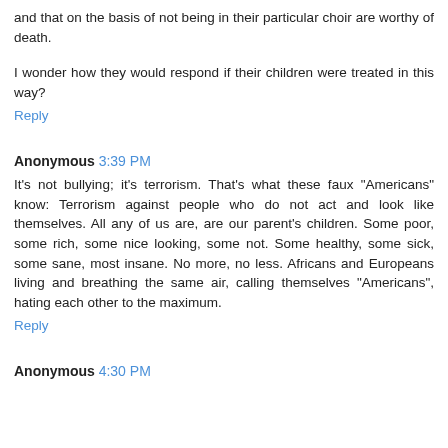and that on the basis of not being in their particular choir are worthy of death.
I wonder how they would respond if their children were treated in this way?
Reply
Anonymous 3:39 PM
It's not bullying; it's terrorism. That's what these faux "Americans" know: Terrorism against people who do not act and look like themselves. All any of us are, are our parent's children. Some poor, some rich, some nice looking, some not. Some healthy, some sick, some sane, most insane. No more, no less. Africans and Europeans living and breathing the same air, calling themselves "Americans", hating each other to the maximum.
Reply
Anonymous 4:30 PM